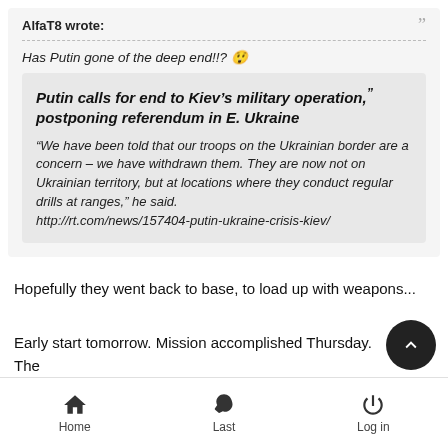AlfaT8 wrote:
Has Putin gone of the deep end!!? 😲
Putin calls for end to Kiev's military operation, postponing referendum in E. Ukraine
"We have been told that our troops on the Ukrainian border are a concern – we have withdrawn them. They are now not on Ukrainian territory, but at locations where they conduct regular drills at ranges," he said.
http://rt.com/news/157404-putin-ukraine-crisis-kiev/
Hopefully they went back to base, to load up with weapons...
Early start tomorrow. Mission accomplished Thursday. Then back home for a Victory parade.
Home | Last | Log in